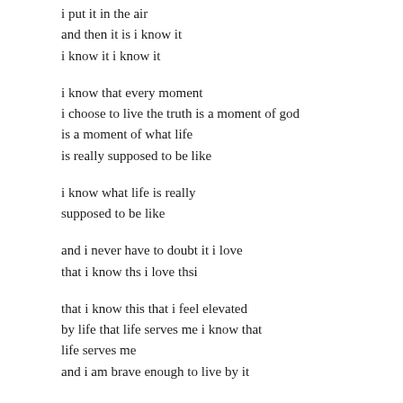i put it in the air
and then it is i know it
i know it i know it

i know that every moment
i choose to live the truth is a moment of god
is a moment of what life
is really supposed to be like

i know what life is really
supposed to be like

and i never have to doubt it i love
that i know ths i love thsi

that i know this that i feel elevated
by life that life serves me i know that
life serves me
and i am brave enough to live by it